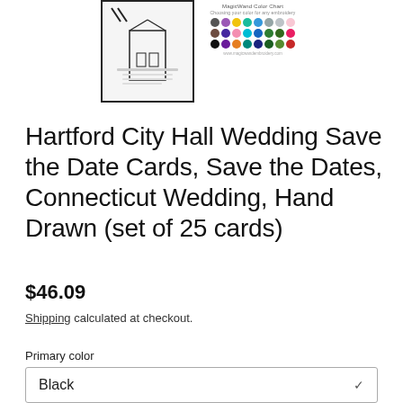[Figure (photo): Two thumbnail product images: left shows a hand-drawn save the date card design in black and white with a building illustration; right shows a MagicWand color chart with a grid of colored dots in various colors.]
Hartford City Hall Wedding Save the Date Cards, Save the Dates, Connecticut Wedding, Hand Drawn (set of 25 cards)
$46.09
Shipping calculated at checkout.
Primary color
Black
Quantity